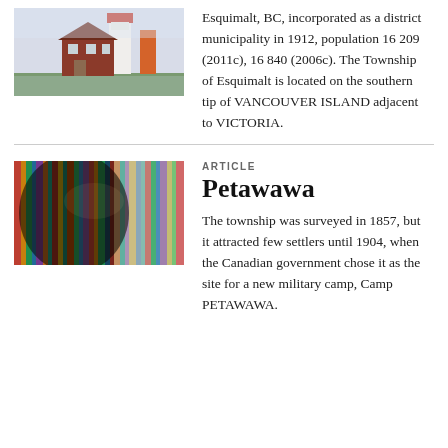[Figure (photo): Photo of a lighthouse and red brick building near water, Esquimalt BC]
Esquimalt, BC, incorporated as a district municipality in 1912, population 16 209 (2011c), 16 840 (2006c). The Township of Esquimalt is located on the southern tip of VANCOUVER ISLAND adjacent to VICTORIA.
[Figure (photo): Photo of colorful book spines arranged closely on shelves]
ARTICLE
Petawawa
The township was surveyed in 1857, but it attracted few settlers until 1904, when the Canadian government chose it as the site for a new military camp, Camp PETAWAWA.